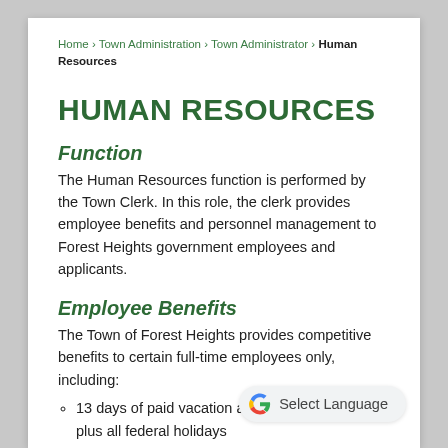Home › Town Administration › Town Administrator › Human Resources
HUMAN RESOURCES
Function
The Human Resources function is performed by the Town Clerk. In this role, the clerk provides employee benefits and personnel management to Forest Heights government employees and applicants.
Employee Benefits
The Town of Forest Heights provides competitive benefits to certain full-time employees only, including:
13 days of paid vacation and sick leave plus all federal holidays